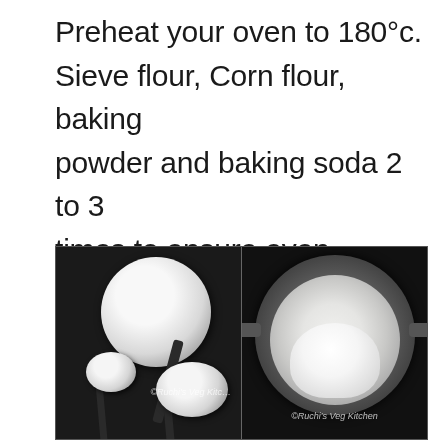Preheat your oven to 180°c. Sieve flour, Corn flour, baking powder and baking soda 2 to 3 times to ensure even mixing.
[Figure (photo): Two photos side by side: left shows measuring spoons with white powder (flour/baking ingredients) on a dark background with watermark 'Ruchi's Veg Kitchen'; right shows a metal sieve/strainer filled with white flour on a dark background with watermark 'Ruchi's Veg Kitchen'.]